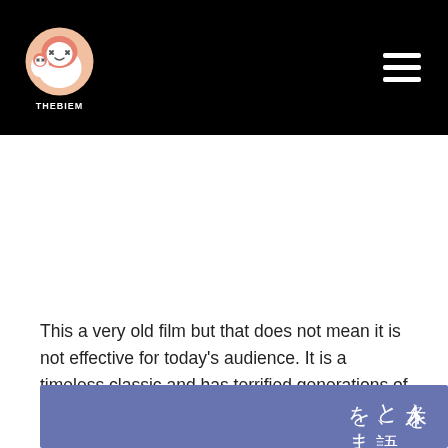THEBIEM
[Figure (photo): Blue/purple toned image with Japanese vertical text: 木々を、虫と語、風をま]
This a very old film but that does not mean it is not effective for today's audience. It is a timeless classic and has terrified generations of viewers. and thus, it earns a spot in our best fantasy list.